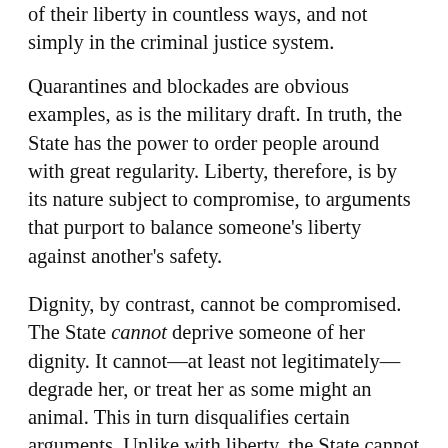of their liberty in countless ways, and not simply in the criminal justice system.
Quarantines and blockades are obvious examples, as is the military draft. In truth, the State has the power to order people around with great regularity. Liberty, therefore, is by its nature subject to compromise, to arguments that purport to balance someone's liberty against another's safety.
Dignity, by contrast, cannot be compromised. The State cannot deprive someone of her dignity. It cannot—at least not legitimately—degrade her, or treat her as some might an animal. This in turn disqualifies certain arguments. Unlike with liberty, the State cannot invoke the seductive language of